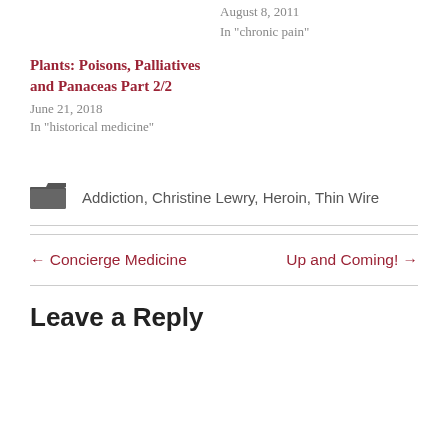August 8, 2011
In "chronic pain"
Plants: Poisons, Palliatives and Panaceas Part 2/2
June 21, 2018
In "historical medicine"
Addiction, Christine Lewry, Heroin, Thin Wire
← Concierge Medicine
Up and Coming! →
Leave a Reply